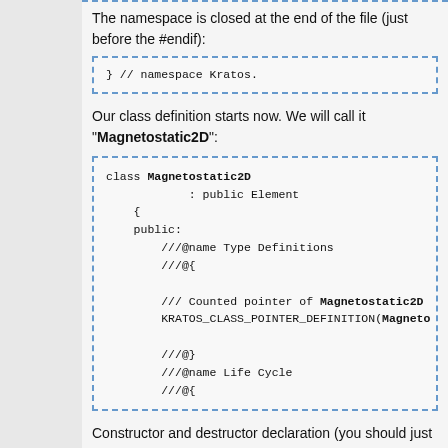The namespace is closed at the end of the file (just before the #endif):
}  // namespace Kratos.
Our class definition starts now. We will call it "Magnetostatic2D":
class Magnetostatic2D
        : public Element
    {
    public:
        ///@name Type Definitions
        ///@{

        /// Counted pointer of Magnetostatic2D
        KRATOS_CLASS_POINTER_DEFINITION(Magneto

        ///@}
        ///@name Life Cycle
        ///@{
Constructor and destructor declaration (you should just change the class name):
/// Default constructor.
    Magnetostatic2D(IndexType NewId, Geome
    Magnetostatic2D(IndexType NewId, Geome